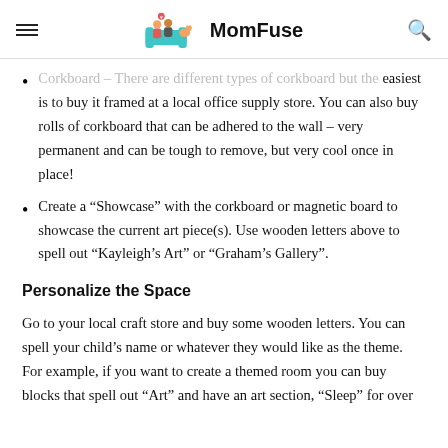MomFuse
Corkboard – There are different types of corkboard but the easiest is to buy it framed at a local office supply store. You can also buy rolls of corkboard that can be adhered to the wall – very permanent and can be tough to remove, but very cool once in place!
Create a “Showcase” with the corkboard or magnetic board to showcase the current art piece(s). Use wooden letters above to spell out “Kayleigh’s Art” or “Graham’s Gallery”.
Personalize the Space
Go to your local craft store and buy some wooden letters. You can spell your child’s name or whatever they would like as the theme. For example, if you want to create a themed room you can buy blocks that spell out “Art” and have an art section, “Sleep” for over